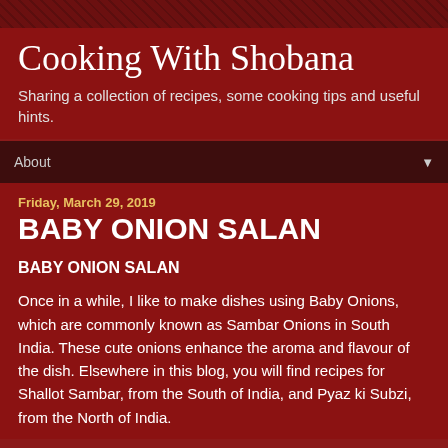Cooking With Shobana
Sharing a collection of recipes, some cooking tips and useful hints.
About
Friday, March 29, 2019
BABY ONION SALAN
BABY ONION SALAN
Once in a while, I like to make dishes using Baby Onions, which are commonly known as Sambar Onions in South India. These cute onions enhance the aroma and flavour of the dish. Elsewhere in this blog, you will find recipes for Shallot Sambar, from the South of India, and Pyaz ki Subzi, from the North of India.